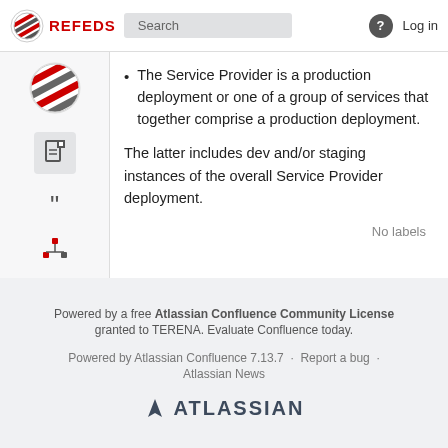REFEDS | Search | Log in
The Service Provider is a production deployment or one of a group of services that together comprise a production deployment.
The latter includes dev and/or staging instances of the overall Service Provider deployment.
No labels
Powered by a free Atlassian Confluence Community License granted to TERENA. Evaluate Confluence today.
Powered by Atlassian Confluence 7.13.7 · Report a bug · Atlassian News
ATLASSIAN